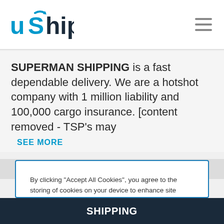uShip
SUPERMAN SHIPPING is a fast dependable delivery. We are a hotshot company with 1 million liability and 100,000 cargo insurance. [content removed - TSP's may
SEE MORE
By clicking "Accept All Cookies", you agree to the storing of cookies on your device to enhance site navigation, analyze site usage, and assist in our marketing efforts.
Reject All
Accept All Cookies
Cookies Settings
SHIPPING